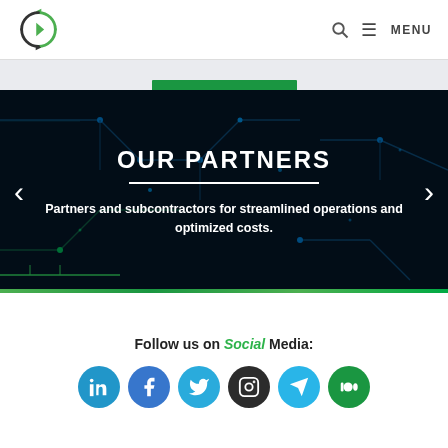Logo | Search | MENU
[Figure (screenshot): Dark technology circuit board banner with OUR PARTNERS heading, white divider line, and subtitle text about partners and subcontractors. Left and right navigation arrows visible.]
Follow us on Social Media:
[Figure (infographic): Row of social media icons: LinkedIn (blue), Facebook (dark blue), Twitter (light blue), Instagram (dark/black), Telegram (light blue), Medium (green)]